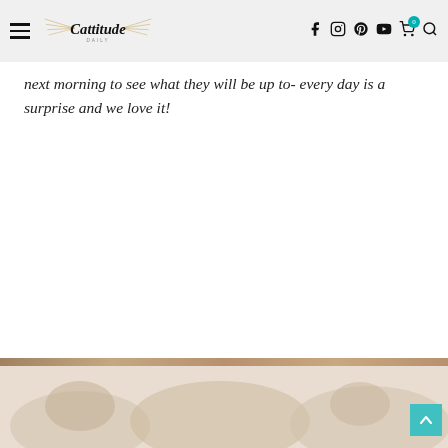Cattitude Daily — navigation header with hamburger menu, logo, and social icons (Facebook, Instagram, Pinterest, YouTube, cart, search)
next morning to see what they will be up to- every day is a surprise and we love it!
[Figure (photo): Partial bottom image showing cats, with a brown/tan marbled top border strip and light background, partially cut off at bottom of page]